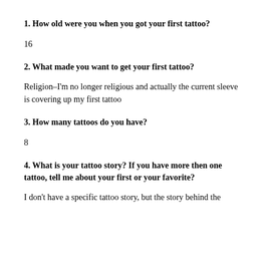1.  How old were you when you got your first tattoo?
16
2.  What made you want to get your first tattoo?
Religion–I'm no longer religious and actually the current sleeve is covering up my first tattoo
3.  How many tattoos do you have?
8
4.  What is your tattoo story?  If you have more then one tattoo, tell me about your first or your favorite?
I don't have a specific tattoo story, but the story behind the